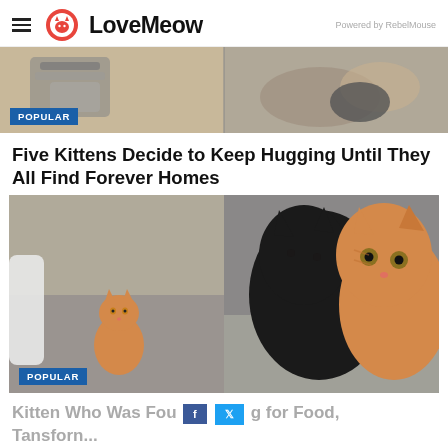LoveMeow — Powered by RebelMouse
[Figure (photo): Top banner photo of cats on carpet, two panels side by side showing cats from above with striped and dark coats. POPULAR badge in blue.]
Five Kittens Decide to Keep Hugging Until They All Find Forever Homes
[Figure (photo): Two-panel photo: left shows a small orange kitten sitting alone outdoors on pavement; right shows a black kitten and orange kitten hugging/cuddling together. POPULAR badge in blue.]
Kitten Who Was Found for Food, [partially obscured by social share overlay]